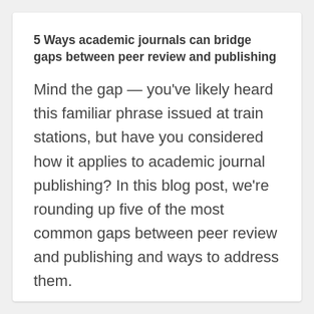5 Ways academic journals can bridge gaps between peer review and publishing
Mind the gap — you've likely heard this familiar phrase issued at train stations, but have you considered how it applies to academic journal publishing? In this blog post, we're rounding up five of the most common gaps between peer review and publishing and ways to address them.
Read more